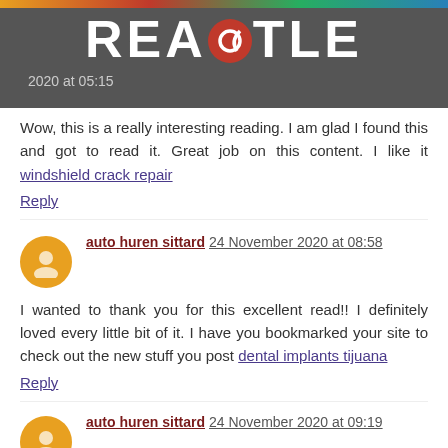REACTLE
Wow, this is a really interesting reading. I am glad I found this and got to read it. Great job on this content. I like it windshield crack repair
Reply
auto huren sittard 24 November 2020 at 08:58
I wanted to thank you for this excellent read!! I definitely loved every little bit of it. I have you bookmarked your site to check out the new stuff you post dental implants tijuana
Reply
auto huren sittard 24 November 2020 at 09:19
Thanks a lot for sharing us about this update. Hope you will not get tired on